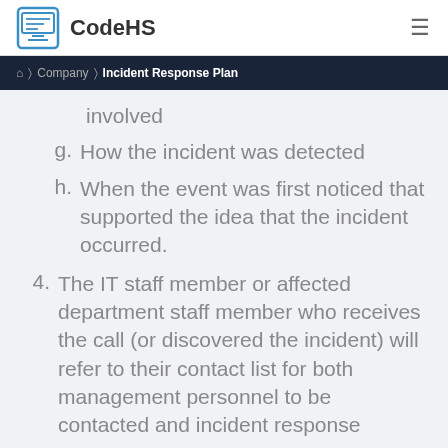CodeHS
Home > Company > Incident Response Plan
involved
g. How the incident was detected
h. When the event was first noticed that supported the idea that the incident occurred.
4. The IT staff member or affected department staff member who receives the call (or discovered the incident) will refer to their contact list for both management personnel to be contacted and incident response